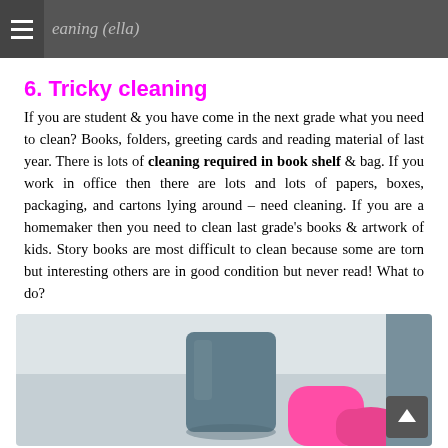cleaning (ella)
6. Tricky cleaning
If you are student & you have come in the next grade what you need to clean? Books, folders, greeting cards and reading material of last year. There is lots of cleaning required in book shelf & bag. If you work in office then there are lots and lots of papers, boxes, packaging, and cartons lying around – need cleaning. If you are a homemaker then you need to clean last grade's books & artwork of kids. Story books are most difficult to clean because some are torn but interesting others are in good condition but never read! What to do?
[Figure (photo): Photo of pink rubber gloves and a blue cleaning container/bucket, partially cropped, showing a cleaning scene from above]